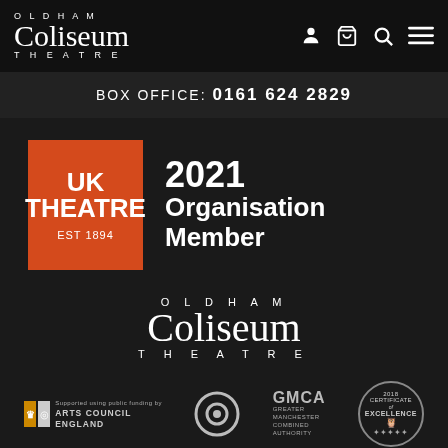OLDHAM Coliseum THEATRE — navigation header with icons
BOX OFFICE: 0161 624 2829
[Figure (logo): UK Theatre membership badge: red square logo with text 'UK THEATRE EST 1894' alongside text '2021 Organisation Member']
[Figure (logo): Oldham Coliseum Theatre logo centered on dark background]
[Figure (logo): Footer logos: Arts Council England, circular logo, GMCA Greater Manchester Combined Authority, Certificate of Excellence 2018 badge]